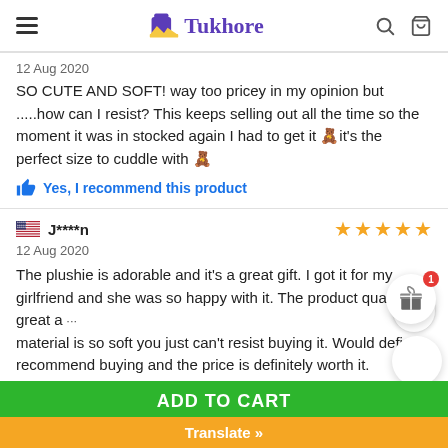Tukhore (navigation header with hamburger menu, logo, search and cart icons)
12 Aug 2020
SO CUTE AND SOFT! way too pricey in my opinion but .....how can I resist? This keeps selling out all the time so the moment it was in stocked again I had to get it 🧸it's the perfect size to cuddle with 🧸
Yes, I recommend this product
J****n
12 Aug 2020
The plushie is adorable and it's a great gift. I got it for my girlfriend and she was so happy with it. The product quality is great a... material is so soft you just can't resist buying it. Would defi... recommend buying and the price is definitely worth it.
ADD TO CART
Translate »